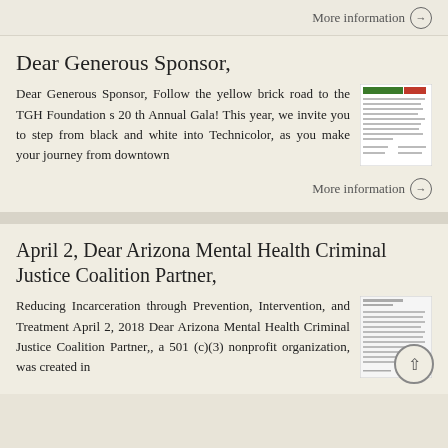More information →
Dear Generous Sponsor,
Dear Generous Sponsor, Follow the yellow brick road to the TGH Foundation s 20 th Annual Gala! This year, we invite you to step from black and white into Technicolor, as you make your journey from downtown
[Figure (photo): Thumbnail preview of a sponsor letter document with red and green header]
More information →
April 2, Dear Arizona Mental Health Criminal Justice Coalition Partner,
Reducing Incarceration through Prevention, Intervention, and Treatment April 2, 2018 Dear Arizona Mental Health Criminal Justice Coalition Partner,, a 501 (c)(3) nonprofit organization, was created in
[Figure (photo): Thumbnail preview of a letter document with text lines]